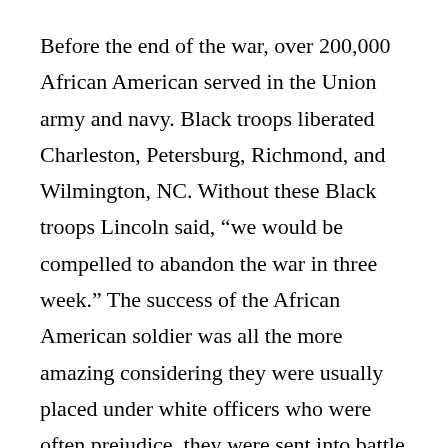Before the end of the war, over 200,000 African American served in the Union army and navy. Black troops liberated Charleston, Petersburg, Richmond, and Wilmington, NC. Without these Black troops Lincoln said, “we would be compelled to abandon the war in three week.” The success of the African American soldier was all the more amazing considering they were usually placed under white officers who were often prejudice, they were sent into battle with less training and inferior weapons, and their medical facilities were worse and their doctors fewer. They also were paid half as much as White soldiers. In fact, many of them refused pay until it was made equal—they continued to fight anyway.